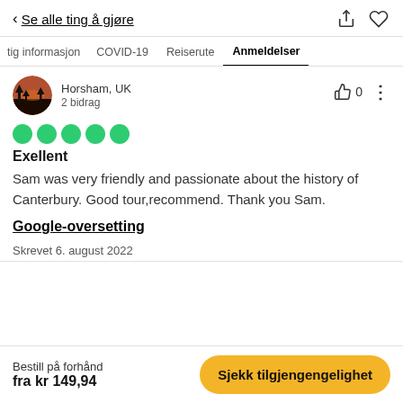Se alle ting å gjøre
tig informasjon   COVID-19   Reiserute   Anmeldelser
Horsham, UK
2 bidrag
[Figure (other): 5 green circles representing 5-star rating]
Exellent
Sam was very friendly and passionate about the history of Canterbury. Good tour,recommend. Thank you Sam.
Google-oversetting
Skrevet 6. august 2022
Bestill på forhånd
fra kr 149,94    Sjekk tilgjengengelighet